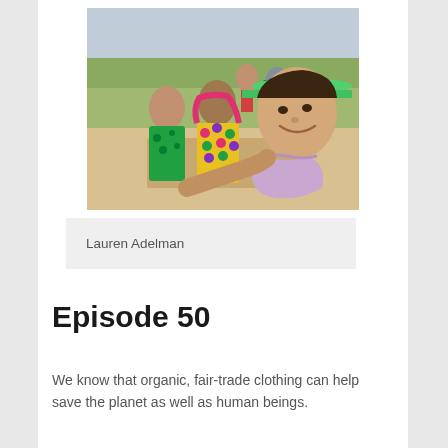[Figure (photo): A selfie-style photograph showing a smiling woman wearing a green visor and sunglasses on her head, with a light purple scarf, surrounded by a group of smiling women in colorful traditional clothing (saris), with green fields in the background.]
Lauren Adelman
Episode 50
We know that organic, fair-trade clothing can help save the planet as well as human beings.